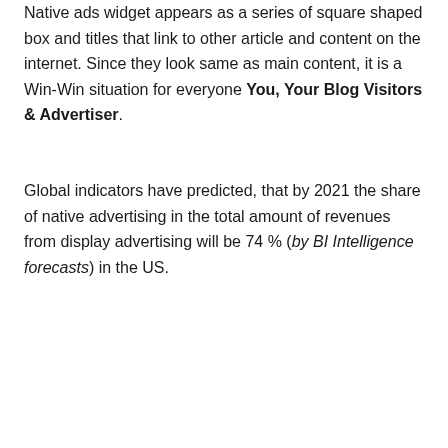Native ads widget appears as a series of square shaped box and titles that link to other article and content on the internet. Since they look same as main content, it is a Win-Win situation for everyone You, Your Blog Visitors & Advertiser.
Global indicators have predicted, that by 2021 the share of native advertising in the total amount of revenues from display advertising will be 74 % (by BI Intelligence forecasts) in the US.